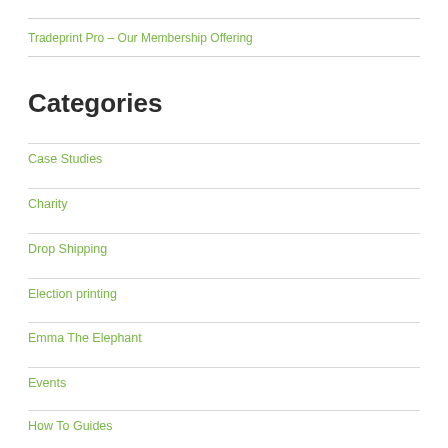Tradeprint Pro – Our Membership Offering
Categories
Case Studies
Charity
Drop Shipping
Election printing
Emma The Elephant
Events
How To Guides
News